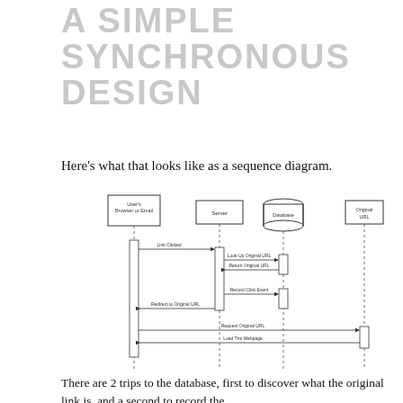A SIMPLE SYNCHRONOUS DESIGN
Here's what that looks like as a sequence diagram.
[Figure (schematic): UML sequence diagram showing a synchronous URL shortener design with four actors: User's Browser or Email, Server, Database (cylinder shape), and Original URL. Sequence: 1) Link Clicked arrow from Browser to Server. 2) Look Up Original URL arrow from Server to Database. 3) Return Original URL arrow from Database back to Server. 4) Record Click Event arrow from Server to Database. 5) Redirect to Original URL arrow from Server back to Browser. 6) Request Original URL arrow from Browser to Original URL. 7) Load The Webpage arrow from Original URL back to Browser. Actors have activation boxes on their lifelines. Lifelines are dashed vertical lines.]
There are 2 trips to the database, first to discover what the original link is, and a second to record the